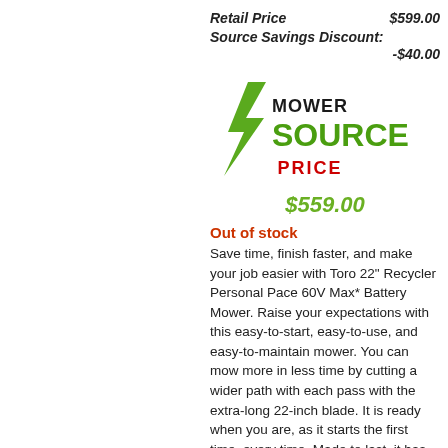Retail Price $599.00
Source Savings Discount: -$40.00
[Figure (logo): Mower Source logo with green lightning bolt and text MOWER SOURCE PRICE]
$559.00
Out of stock
Save time, finish faster, and make your job easier with Toro 22" Recycler Personal Pace 60V Max* Battery Mower. Raise your expectations with this easy-to-start, easy-to-use, and easy-to-maintain mower. You can mow more in less time by cutting a wider path with each pass with the extra-long 22-inch blade. It is ready when you are, as it starts the first time, every time. Made to last, it has rugged durability with a steel deck, not plastic. Get a healthy-looking lawn by returning nutrient-rich clippings to the soil and